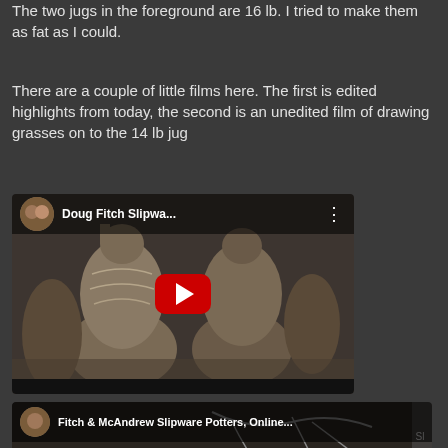The two jugs in the foreground are 16 lb. I tried to make them as fat as I could.
There are a couple of little films here. The first is edited highlights from today, the second is an unedited film of drawing grasses on to the 14 lb jug
[Figure (screenshot): YouTube video embed showing pottery jugs with play button. Title: Doug Fitch Slipwa...]
[Figure (screenshot): Second YouTube video embed showing Fitch & McAndrew Slipware Potters, Online...]